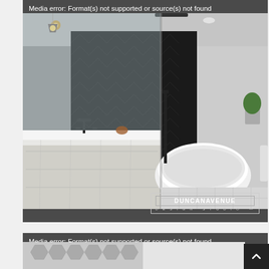[Figure (screenshot): Media player error screen showing a modern luxury bathroom render with dark chevron tile wall, freestanding white bathtub, floating vanity with black fixtures, and recessed lighting. Error message reads: 'Media error: Format(s) not supported or source(s) not found'. Download File URL shown. Duncan Avenue Design Studio logo overlay bottom right.]
[Figure (screenshot): Second media player error screen partially visible at bottom of page, partially obscured by a back-to-top button. Shows another bathroom render. Error message: 'Media error: Format(s) not supported or source(s) not found'.]